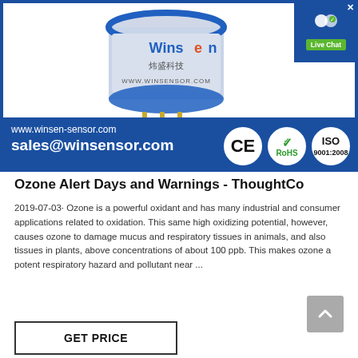[Figure (photo): Winsen sensor product photo with blue branding, CE, RoHS, and ISO 9001:2008 certification logos. Contact info: www.winsen-sensor.com and sales@winsensor.com]
Ozone Alert Days and Warnings - ThoughtCo
2019-07-03· Ozone is a powerful oxidant and has many industrial and consumer applications related to oxidation. This same high oxidizing potential, however, causes ozone to damage mucus and respiratory tissues in animals, and also tissues in plants, above concentrations of about 100 ppb. This makes ozone a potent respiratory hazard and pollutant near ...